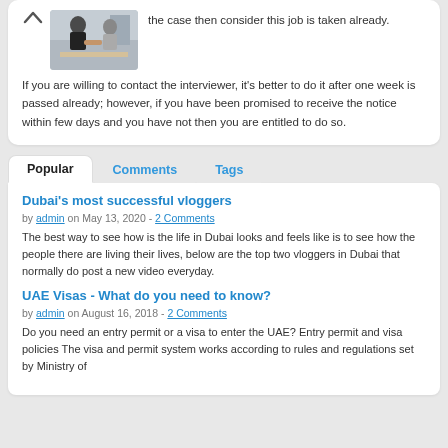[Figure (photo): Two people shaking hands at a desk, business meeting scene]
the case then consider this job is taken already.
If you are willing to contact the interviewer, it's better to do it after one week is passed already; however, if you have been promised to receive the notice within few days and you have not then you are entitled to do so.
Popular
Comments
Tags
Dubai's most successful vloggers
by admin on May 13, 2020 - 2 Comments
The best way to see how is the life in Dubai looks and feels like is to see how the people there are living their lives, below are the top two vloggers in Dubai that normally do post a new video everyday.
UAE Visas - What do you need to know?
by admin on August 16, 2018 - 2 Comments
Do you need an entry permit or a visa to enter the UAE? Entry permit and visa policies The visa and permit system works according to rules and regulations set by Ministry of